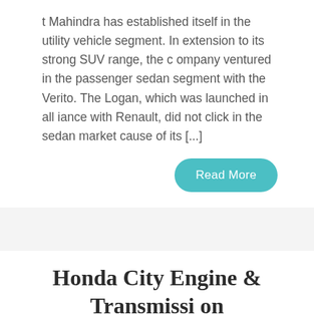t Mahindra has established itself in the utility vehicle segment. In extension to its strong SUV range, the company ventured in the passenger sedan segment with the Verito. The Logan, which was launched in alliance with Renault, did not click in the sedan market cause of its [...]
Read More
Honda City Engine & Transmission
August 15, 2018 by admin - Leave a Comment
Honda City Overview The City is one of the most popular and successful models for Honda Cars India. In